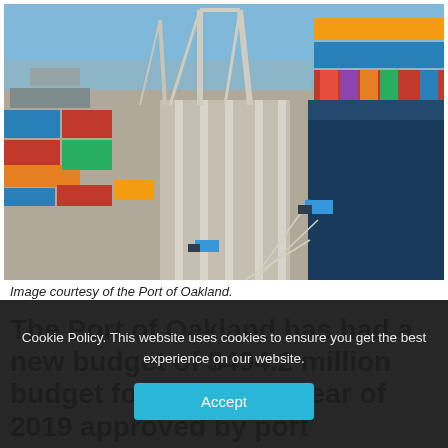[Figure (photo): Aerial view of the Port of Oakland showing shipping containers stacked on docks, large crane gantries, and a large container ship berthed at the terminal. Blue sky overhead.]
Image courtesy of the Port of Oakland.
The Port of Oakland has had a new budget of $494.2 million budget for the Fiscal Year of 2019 approved by port commissioners – which includes $94.7 million…
Cookie Policy. This website uses cookies to ensure you get the best experience on our website.